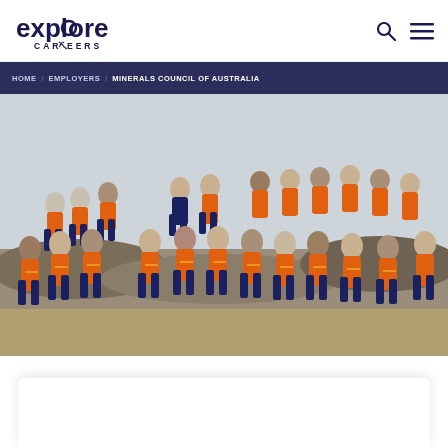explore CAREERS — HOME / EMPLOYERS / MINERALS COUNCIL OF AUSTRALIA
[Figure (photo): Group photo of approximately 30 people wearing orange and navy hi-visibility work shirts, posing outdoors on rocky terrain. Some are holding geological tools. Overcast sky in background with dry grassland.]